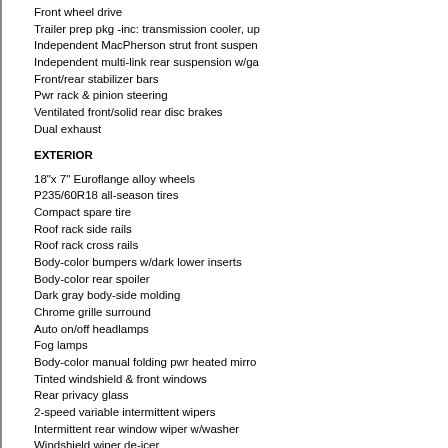Front wheel drive
Trailer prep pkg -inc: transmission cooler, up
Independent MacPherson strut front suspen
Independent multi-link rear suspension w/ga
Front/rear stabilizer bars
Pwr rack & pinion steering
Ventilated front/solid rear disc brakes
Dual exhaust
EXTERIOR
18"x 7" Euroflange alloy wheels
P235/60R18 all-season tires
Compact spare tire
Roof rack side rails
Roof rack cross rails
Body-color bumpers w/dark lower inserts
Body-color rear spoiler
Dark gray body-side molding
Chrome grille surround
Auto on/off headlamps
Fog lamps
Body-color manual folding pwr heated mirro
Tinted windshield & front windows
Rear privacy glass
2-speed variable intermittent wipers
Intermittent rear window wiper w/washer
Windshield wiper de-icer
Body-color door handles
ENTERTAINMENT